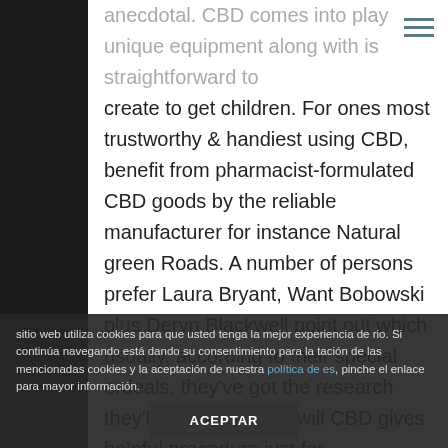anecdotal. CBD comes into play unique equipment along with is straightforward to create to get children. For ones most trustworthy & handiest using CBD, benefit from pharmacist-formulated CBD goods by the reliable manufacturer for instance Natural green Roads. A number of persons prefer Laura Bryant, Want Bobowski plus Deryn Blackwell point out which usually, according to their special ordeals, they've got the research they'll must have that will CBD gives helpful procedure just for neverending pain. That National
sitio web utiliza cookies para que usted tenga la mejor experiencia de rio. Si continúa navegando está dando su consentimiento para la tación de las mencionadas cookies y la aceptación de nuestra política de es, pinche el enlace para mayor información.